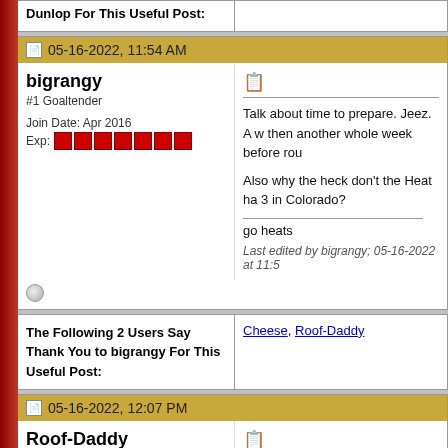Dunlop For This Useful Post:
05-16-2022, 11:54 AM
bigrangy
#1 Goaltender
Join Date: Apr 2016
Exp: [7 blocks]
Talk about time to prepare. Jeez. A w then another whole week before rou

Also why the heck don't the Heat ha 3 in Colorado?

go heats

Last edited by bigrangy; 05-16-2022 at 11:5
The Following 2 Users Say Thank You to bigrangy For This Useful Post:
Cheese, Roof-Daddy
05-16-2022, 12:07 PM
Roof-Daddy
Franchise Player
I hope that's a typo. How in the hell o games in a playoff series vs an inferi if true.